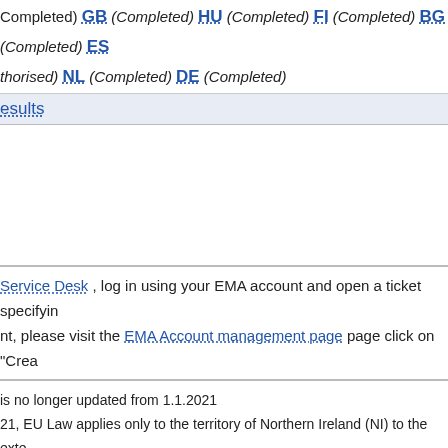(Completed) GB (Completed) HU (Completed) FI (Completed) BG (Completed) ES (Authorised) NL (Completed) DE (Completed)
Results
Service Desk , log in using your EMA account and open a ticket specifying. nt, please visit the EMA Account management page page click on "Crea
is no longer updated from 1.1.2021
21, EU Law applies only to the territory of Northern Ireland (NI) to the exte
Service Desk: https://servicedesk.ema.europa.eu
y © 1995-2022 | Domenico Scarlattilaan 6, 1083 HS Amsterdam, The Ne
[Figure (logo): EMA European Medicines Agency logo with text 'MEDICINES AGENCY' and 'HEALTH']